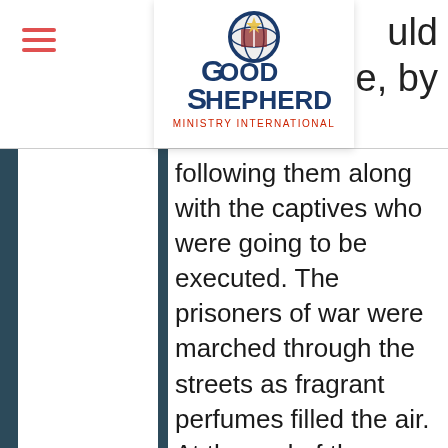[Figure (logo): Good Shepherd Ministry International logo with globe/book icon]
following them along with the captives who were going to be executed. The prisoners of war were marched through the streets as fragrant perfumes filled the air. At the end of the parade, many of the captives were executed. Thus, the smell of the parade was sweet to the victors, but death to the defeated. In the same manner, God “through us diffuses the fragrance of His knowledge in every place. For we are to God the fragrance of Christ among those who are being saved and